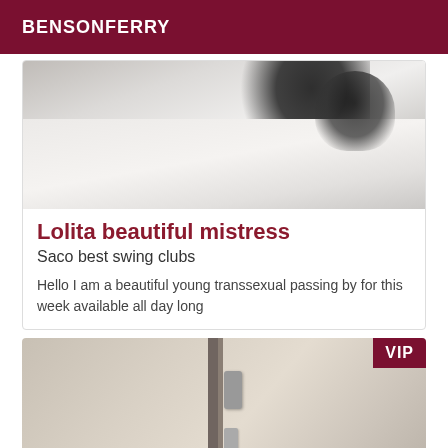BENSONFERRY
[Figure (photo): Photo of a person in black lingerie on white bedsheets]
Lolita beautiful mistress
Saco best swing clubs
Hello I am a beautiful young transsexual passing by for this week available all day long
[Figure (photo): Photo of a door/bathroom area with VIP badge in top right corner]